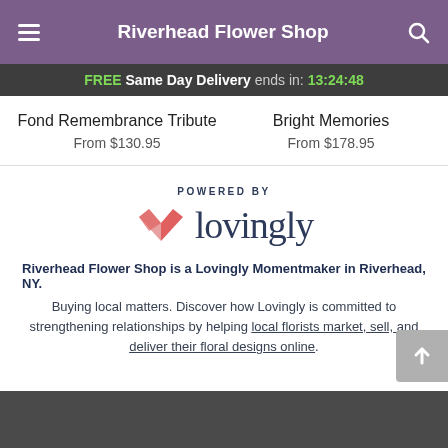Riverhead Flower Shop
FREE Same Day Delivery ends in: 13:24:48
Fond Remembrance Tribute
From $130.95
Bright Memories
From $178.95
[Figure (logo): Lovingly logo with pink heart/envelope icon and 'POWERED BY lovingly' text]
Riverhead Flower Shop is a Lovingly Momentmaker in Riverhead, NY.
Buying local matters. Discover how Lovingly is committed to strengthening relationships by helping local florists market, sell, and deliver their floral designs online.